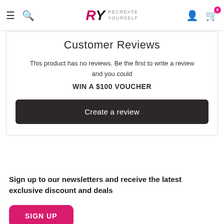RY RECREATE YOURSELF
Customer Reviews
This product has no reviews. Be the first to write a review and you could
WIN A $100 VOUCHER
Create a review
Sign up to our newsletters and receive the latest exclusive discount and deals
SIGN UP